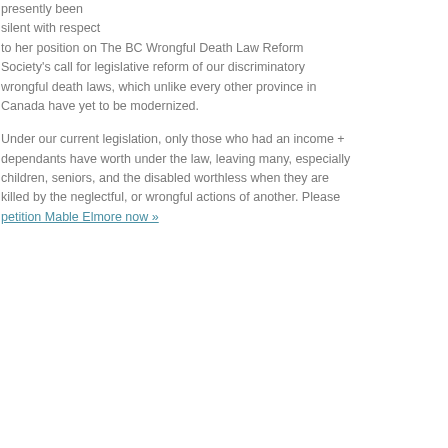presently been silent with respect to her position on The BC Wrongful Death Law Reform Society's call for legislative reform of our discriminatory wrongful death laws, which unlike every other province in Canada have yet to be modernized.

Under our current legislation, only those who had an income + dependants have worth under the law, leaving many, especially children, seniors, and the disabled worthless when they are killed by the neglectful, or wrongful actions of another. Please petition Mable Elmore now »